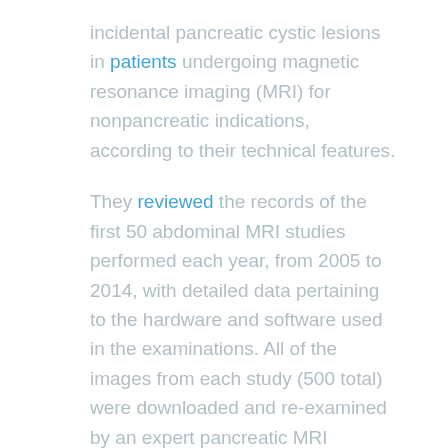incidental pancreatic cystic lesions in patients undergoing magnetic resonance imaging (MRI) for nonpancreatic indications, according to their technical features.
They reviewed the records of the first 50 abdominal MRI studies performed each year, from 2005 to 2014, with detailed data pertaining to the hardware and software used in the examinations. All of the images from each study (500 total) were downloaded and re-examined by an expert pancreatic MRI radiologist.
Of the 500 patients analyzed, 208 patients (41.6%) were found to have an incidental cyst.